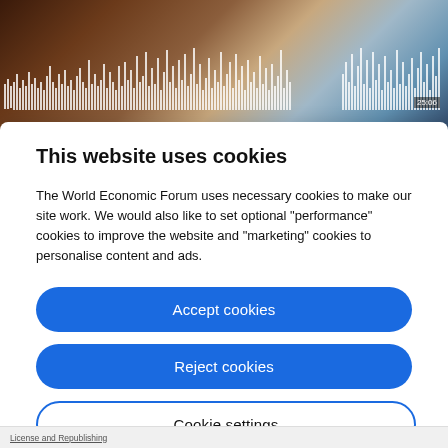[Figure (screenshot): Top section showing a dark audio player with waveform visualization bars and timestamp 25:06, with a bird/nature image partially visible in background]
Privacy policy
This website uses cookies
The World Economic Forum uses necessary cookies to make our site work. We would also like to set optional "performance" cookies to improve the website and "marketing" cookies to personalise content and ads.
Accept cookies
Reject cookies
Cookie settings
License and Republishing